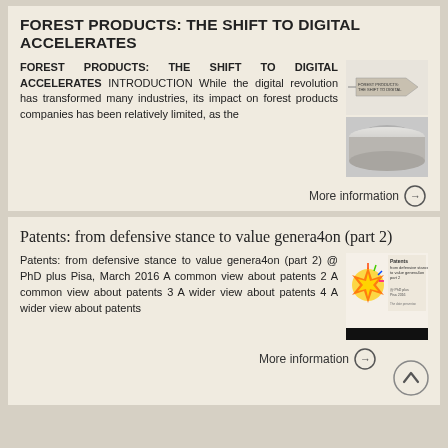FOREST PRODUCTS: THE SHIFT TO DIGITAL ACCELERATES
FOREST PRODUCTS: THE SHIFT TO DIGITAL ACCELERATES INTRODUCTION While the digital revolution has transformed many industries, its impact on forest products companies has been relatively limited, as the
[Figure (other): Thumbnail image of forest products document cover with an arrow graphic and a metallic cylindrical roll at the bottom]
More information →
Patents: from defensive stance to value genera4on (part 2)
Patents: from defensive stance to value genera4on (part 2) @ PhD plus Pisa, March 2016 A common view about patents 2 A common view about patents 3 A wider view about patents 4 A wider view about patents
[Figure (other): Thumbnail image of patents presentation slide with colorful explosion graphic and title text, plus a black rectangle below]
More information →